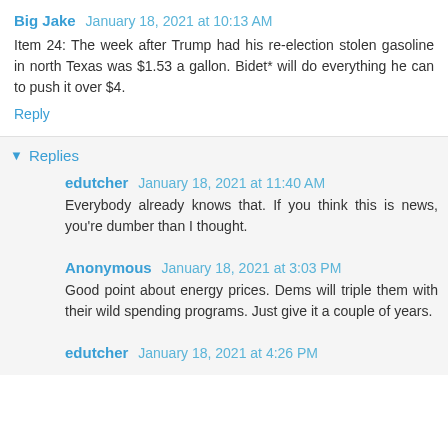Big Jake  January 18, 2021 at 10:13 AM
Item 24: The week after Trump had his re-election stolen gasoline in north Texas was $1.53 a gallon. Bidet* will do everything he can to push it over $4.
Reply
Replies
edutcher  January 18, 2021 at 11:40 AM
Everybody already knows that. If you think this is news, you're dumber than I thought.
Anonymous  January 18, 2021 at 3:03 PM
Good point about energy prices. Dems will triple them with their wild spending programs. Just give it a couple of years.
edutcher  January 18, 2021 at 4:26 PM